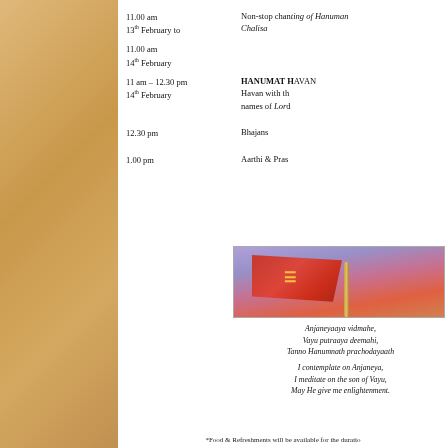11.00 am
13th February to
Non-stop chanting of Hanuman Chalisa
11.00 am
14th February
11 am – 12.30 pm
14th February
HANUMAT HAVAN
Havan with the 108 names of Lord Hanuman
12.30 pm
Bhajans
1.00 pm
Aarthi & Prasad
[Figure (photo): Image of a red flag with Hanuman symbol against a colorful sky background]
Anjaneyaaya vidmahe,
Vayu putraaya deemahi,
Tanno Hanumnath prachodayaath
I contemplate on Anjaneya,
I meditate on the son of Vayu,
May He give me enlightenment.
*Food & Refreshments will be available for the duration of the event